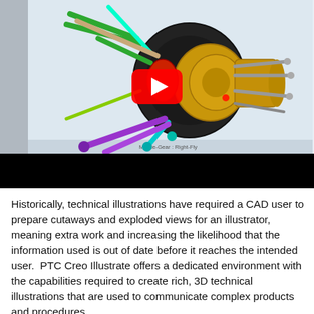[Figure (screenshot): Screenshot of a YouTube video showing a CAD model (PTC Creo) of a complex mechanical assembly — a wheel/hub with suspension components in multiple colors (green, gold, purple, teal, red) — with a YouTube play button overlay. A person is partially visible on the left. The lower portion of the video frame is black.]
Historically, technical illustrations have required a CAD user to prepare cutaways and exploded views for an illustrator, meaning extra work and increasing the likelihood that the information used is out of date before it reaches the intended user.  PTC Creo Illustrate offers a dedicated environment with the capabilities required to create rich, 3D technical illustrations that are used to communicate complex products and procedures